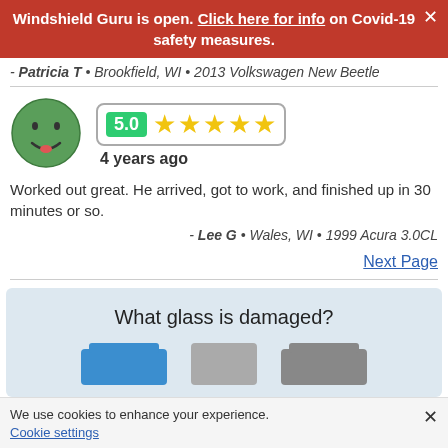Windshield Guru is open. Click here for info on Covid-19 safety measures.
- Patricia T • Brookfield, WI • 2013 Volkswagen New Beetle
[Figure (illustration): Green smiley face emoji icon with 5.0 star rating badge showing 5 gold stars and text '4 years ago']
Worked out great. He arrived, got to work, and finished up in 30 minutes or so.
- Lee G • Wales, WI • 1999 Acura 3.0CL
Next Page
What glass is damaged?
We use cookies to enhance your experience.
Cookie settings